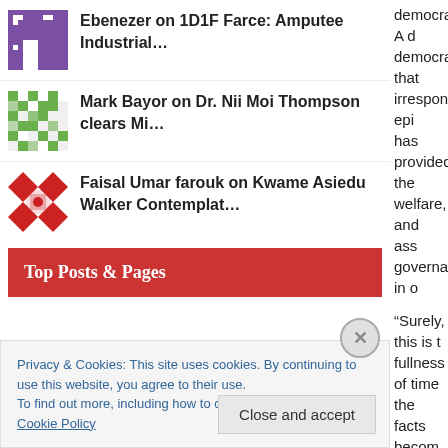Ebenezer on 1D1F Farce: Amputee Industrial…
Mark Bayor on Dr. Nii Moi Thompson clears Mi…
Faisal Umar farouk on Kwame Asiedu Walker Contemplat…
Top Posts & Pages
democracy? A d democracy that irresponsible epi has provided the welfare, and ass governance in o
“Surely, this is t fullness of time the facts becom evidence, they w h is
Privacy & Cookies: This site uses cookies. By continuing to use this website, you agree to their use.
To find out more, including how to control cookies, see here: Cookie Policy
Close and accept